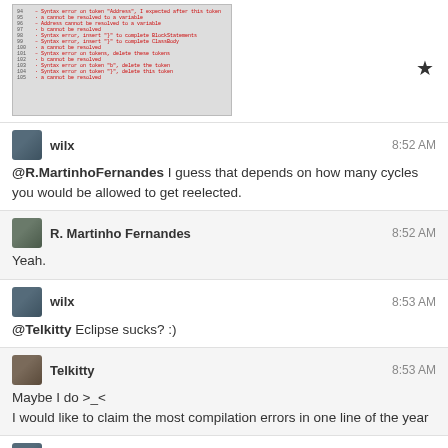[Figure (screenshot): Screenshot of code editor showing compilation errors with line numbers]
wilx 8:52 AM
@R.MartinhoFernandes I guess that depends on how many cycles you would be allowed to get reelected.
R. Martinho Fernandes 8:52 AM
Yeah.
wilx 8:53 AM
@Telkitty Eclipse sucks? :)
Telkitty 8:53 AM
Maybe I do >_<
I would like to claim the most compilation errors in one line of the year
wilx 8:53 AM
@Telkitty :D
[Figure (photo): Certificate image with decorative border, title Lounge C++]